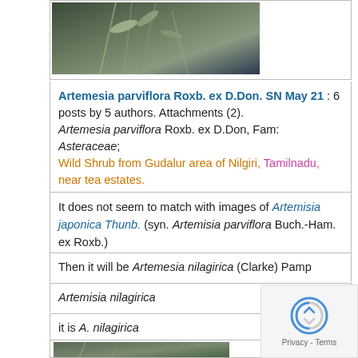[Figure (photo): Plant specimen photo — thin green leaves against dark background, partially visible at top of page]
Artemesia parviflora Roxb. ex D.Don. SN May 21 : 6 posts by 5 authors. Attachments (2). Artemesia parviflora Roxb. ex D.Don, Fam: Asteraceae; Wild Shrub from Gudalur area of Nilgiri, Tamilnadu, near tea estates.
It does not seem to match with images of Artemisia japonica Thunb. (syn. Artemisia parviflora Buch.-Ham. ex Roxb.)
Then it will be Artemesia nilagirica (Clarke) Pamp
Artemisia nilagirica
it is A. nilagirica
[Figure (photo): Plant/specimen photo at bottom of page, partially visible]